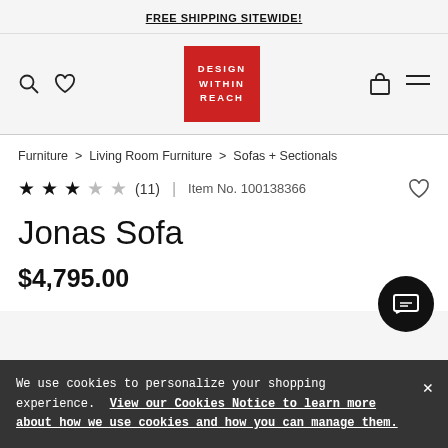FREE SHIPPING SITEWIDE!
[Figure (logo): Design Within Reach logo — red box with white text DESIGN WITHIN REACH]
Furniture > Living Room Furniture > Sofas + Sectionals
★★★☆☆ (11) | Item No. 100138366
Jonas Sofa
$4,795.00
We use cookies to personalize your shopping experience. View our Cookies Notice to learn more about how we use cookies and how you can manage them.